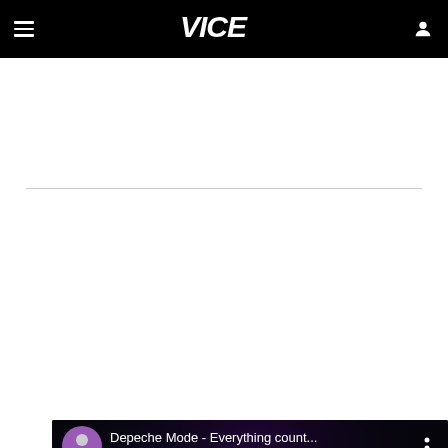VICE navigation bar with hamburger menu, VICE logo, and user icon
[Figure (screenshot): YouTube embedded video player showing Depeche Mode - Everything count... with a performer on stage lit in blue and red lighting, with a play button overlay and channel avatar in purple]
Depeche Mode - Everything count...